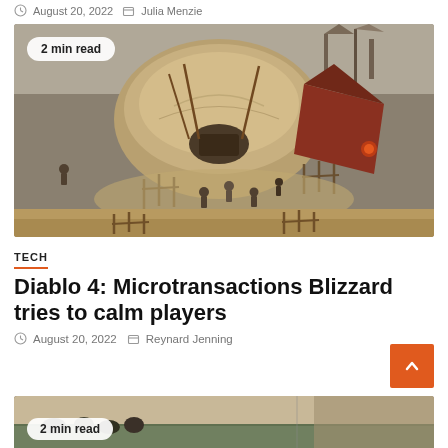August 20, 2022  Julia Menzie
[Figure (screenshot): Diablo 4 game screenshot showing an isometric view of a desert camp scene with characters and large tent-like structures]
2 min read
TECH
Diablo 4: Microtransactions Blizzard tries to calm players
August 20, 2022  Reynard Jenning
[Figure (screenshot): Partial bottom image showing another article with outdoor scene, partially visible]
2 min read